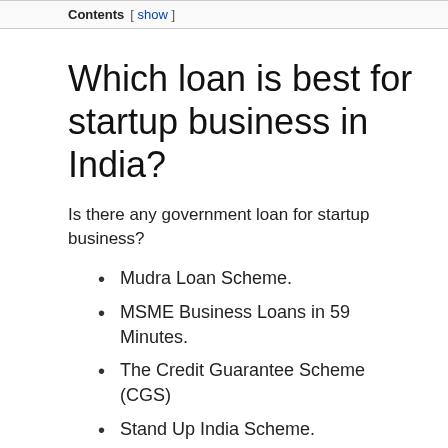Contents [ show ]
Which loan is best for startup business in India?
Is there any government loan for startup business?
Mudra Loan Scheme.
MSME Business Loans in 59 Minutes.
The Credit Guarantee Scheme (CGS)
Stand Up India Scheme.
Coir Udyami Yojana.
National Bank for Agriculture and Rural Development (NABARD)
Credit Link Capital Subsidy Scheme.
National Small Industries Corporation